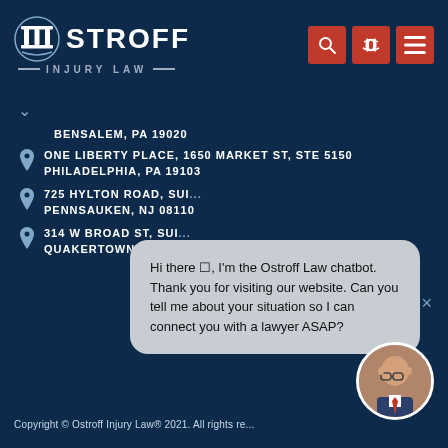OSTROFF INJURY LAW
BENSALEM, PA 19020
ONE LIBERTY PLACE, 1650 MARKET ST, STE 5150
PHILADELPHIA, PA 19103
725 HYLTON ROAD, SUITE ...
PENNSAUKEN, NJ 08110
314 W BROAD ST, SUITE ...
QUAKERTOWN, PA 18951
Hi there ?, I'm the Ostroff Law chatbot. Thank you for visiting our website. Can you tell me about your situation so I can connect you with a lawyer ASAP?
Copyright © Ostroff Injury Law® 2021. All rights re...